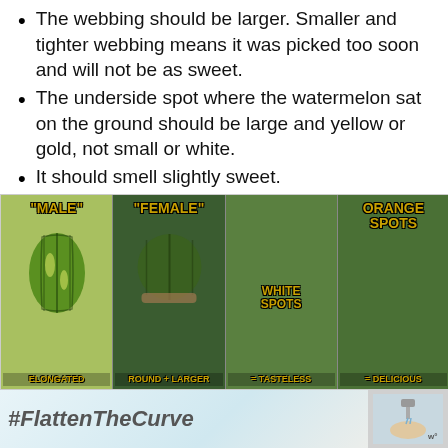The webbing should be larger. Smaller and tighter webbing means it was picked too soon and will not be as sweet.
The underside spot where the watermelon sat on the ground should be large and yellow or gold, not small or white.
It should smell slightly sweet.
It should feel heavy for its size.
Rounder is better than elongated.
[Figure (infographic): Four-panel watermelon comparison infographic showing 'Male' (elongated), 'Female' (round and larger), White Spots (= Tasteless), Orange Spots (= Delicious)]
[Figure (infographic): Advertisement banner with #FlattenTheCurve text and handwashing image]